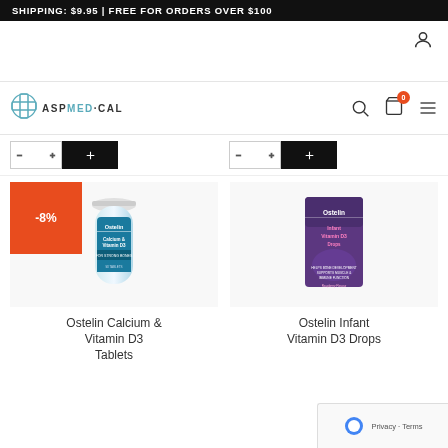SHIPPING: $9.95 | FREE FOR ORDERS OVER $100
[Figure (logo): ASP Medical logo with cross icon and teal text]
[Figure (photo): Ostelin Calcium & Vitamin D3 tablet bottle product photo with -8% discount badge]
[Figure (photo): Ostelin Infant Vitamin D3 Drops product box photo]
Ostelin Calcium & Vitamin D3 Tablets
Ostelin Infant Vitamin D3 Drops